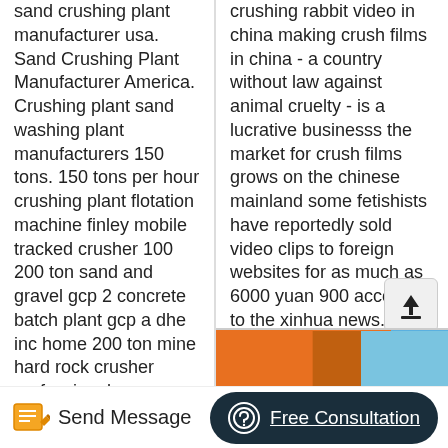sand crushing plant manufacturer usa. Sand Crushing Plant Manufacturer America. Crushing plant sand washing plant manufacturers 150 tons. 150 tons per hour crushing plant flotation machine finley mobile tracked crusher 100 200 ton sand and gravel gcp 2 concrete batch plant gcp a dhe inc home 200 ton mine hard rock crusher professional manufacturer of stone
crushing rabbit video in china making crush films in china - a country without law against animal cruelty - is a lucrative businesss the market for crush films grows on the chinese mainland some fetishists have reportedly sold video clips to foreign websites for as much as 6000 yuan 900 according to the xinhua news.
[Figure (photo): Partial view of orange and blue industrial structure against blue sky]
Send Message
Free Consultation